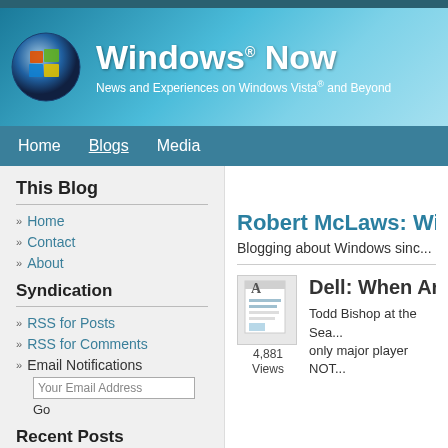[Figure (screenshot): Windows Now website banner with Windows logo, site title 'Windows Now', and subtitle 'News and Experiences on Windows Vista® and Beyond']
Home | Blogs | Media
This Blog
Home
Contact
About
Syndication
RSS for Posts
RSS for Comments
Email Notifications
Robert McLaws: Wi...
Blogging about Windows sinc...
Dell: When Are Yo...
Todd Bishop at the Sea... only major player NOT...
4,881 Views
Recent Posts